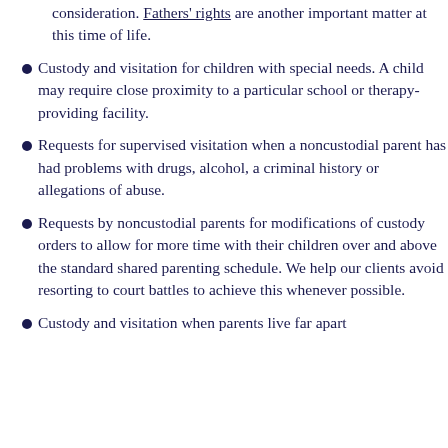consideration. Fathers' rights are another important matter at this time of life.
Custody and visitation for children with special needs. A child may require close proximity to a particular school or therapy-providing facility.
Requests for supervised visitation when a noncustodial parent has had problems with drugs, alcohol, a criminal history or allegations of abuse.
Requests by noncustodial parents for modifications of custody orders to allow for more time with their children over and above the standard shared parenting schedule. We help our clients avoid resorting to court battles to achieve this whenever possible.
Custody and visitation when parents live far apart